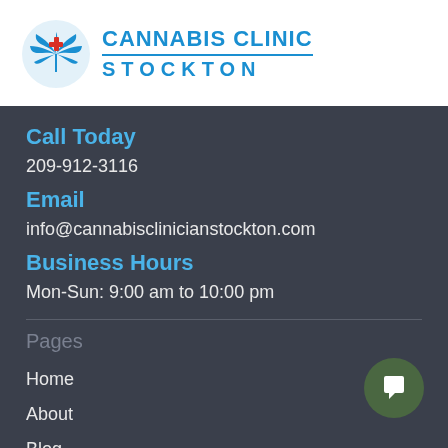[Figure (logo): Cannabis Clinic Stockton logo with cannabis leaf and medical cross icon, blue text reading CANNABIS CLINIC above STOCKTON]
Call Today
209-912-3116
Email
info@cannabisclinicianstockton.com
Business Hours
Mon-Sun: 9:00 am to 10:00 pm
Pages
Home
About
Blog